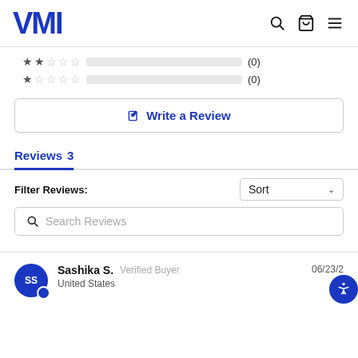VMI
[Figure (other): Star rating rows showing 2-star (0) and 1-star (0) ratings with empty progress bars]
✎ Write a Review
Reviews 3
Filter Reviews:
Sort
Search Reviews
Sashika S.  Verified Buyer    06/23/2  United States